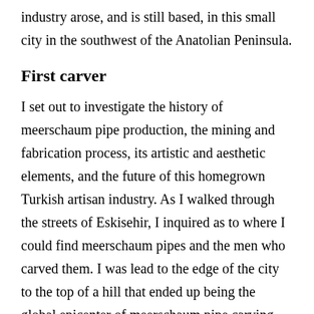industry arose, and is still based, in this small city in the southwest of the Anatolian Peninsula.
First carver
I set out to investigate the history of meerschaum pipe production, the mining and fabrication process, its artistic and aesthetic elements, and the future of this homegrown Turkish artisan industry. As I walked through the streets of Eskisehir, I inquired as to where I could find meerschaum pipes and the men who carved them. I was lead to the edge of the city to the top of a hill that ended up being the global epicenter of meerschaum pipe carving.